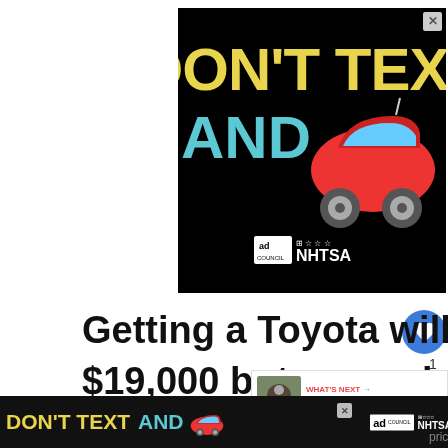[Figure (infographic): Public service announcement ad on black background: 'DON'T TEXT AND [car emoji]' with Ad Council and NHTSA logos. Close button (X) in top right corner.]
Getting a Toyota will cost on the low end $19,000 but can quickly jump up to over $90,000 if looking at a Toyota Land Cruiser. Don't get too caught up on the price
[Figure (infographic): Bottom sticky ad banner repeating 'DON'T TEXT AND [car emoji]' with Ad Council and NHTSA logos on dark background. X close button visible.]